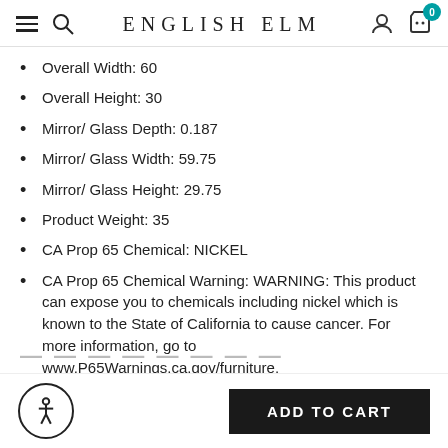ENGLISH ELM
Overall Width: 60
Overall Height: 30
Mirror/Glass Depth: 0.187
Mirror/Glass Width: 59.75
Mirror/Glass Height: 29.75
Product Weight: 35
CA Prop 65 Chemical: NICKEL
CA Prop 65 Chemical Warning: WARNING: This product can expose you to chemicals including nickel which is known to the State of California to cause cancer. For more information, go to www.P65Warnings.ca.gov/furniture.
ADD TO CART